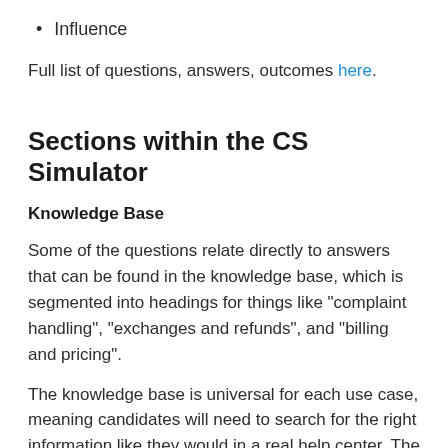Influence
Full list of questions, answers, outcomes here.
Sections within the CS Simulator
Knowledge Base
Some of the questions relate directly to answers that can be found in the knowledge base, which is segmented into headings for things like "complaint handling", "exchanges and refunds", and "billing and pricing".
The knowledge base is universal for each use case, meaning candidates will need to search for the right information like they would in a real help center. The information will help them determine the correct response to choose.